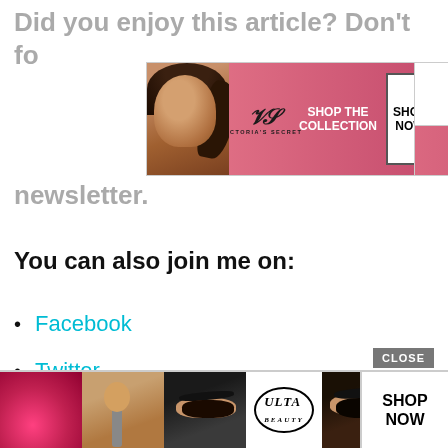Did you enjoy this article? Don't fo…newsletter.
[Figure (photo): Victoria's Secret advertisement banner with model, VS logo, 'SHOP THE COLLECTION' text and 'SHOP NOW' button]
You can also join me on:
Facebook
Twitter
Pinterest
YouTube
[Figure (photo): Ulta Beauty advertisement banner with makeup/beauty images, Ulta logo and 'SHOP NOW' button, with CLOSE button above]